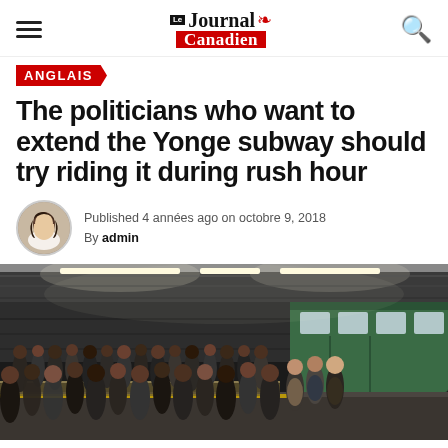Le Journal Canadien
ANGLAIS
The politicians who want to extend the Yonge subway should try riding it during rush hour
Published 4 années ago on octobre 9, 2018
By admin
[Figure (photo): Crowded subway platform with many commuters waiting, a green subway train visible on the right, overhead fluorescent lighting, dark urban transit station atmosphere.]